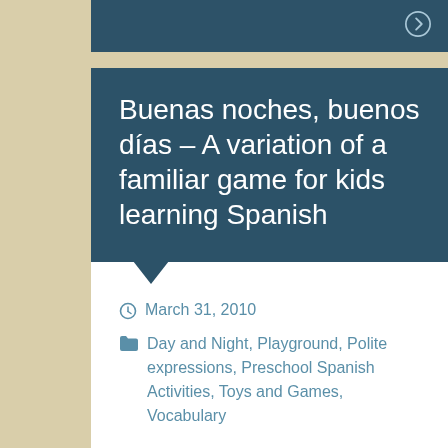Buenas noches, buenos días – A variation of a familiar game for kids learning Spanish
March 31, 2010
Day and Night, Playground, Polite expressions, Preschool Spanish Activities, Toys and Games, Vocabulary
Variations of familiar games are an easy way to incorporate